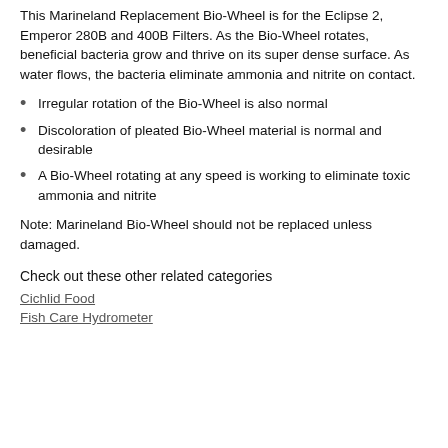This Marineland Replacement Bio-Wheel is for the Eclipse 2, Emperor 280B and 400B Filters. As the Bio-Wheel rotates, beneficial bacteria grow and thrive on its super dense surface. As water flows, the bacteria eliminate ammonia and nitrite on contact.
Irregular rotation of the Bio-Wheel is also normal
Discoloration of pleated Bio-Wheel material is normal and desirable
A Bio-Wheel rotating at any speed is working to eliminate toxic ammonia and nitrite
Note: Marineland Bio-Wheel should not be replaced unless damaged.
Check out these other related categories
Cichlid Food
Fish Care Hydrometer